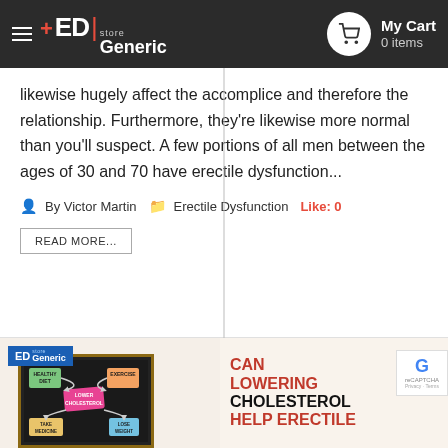ED Generic Store — My Cart 0 items
likewise hugely affect the accomplice and therefore the relationship. Furthermore, they're likewise more normal than you'll suspect. A few portions of all men between the ages of 30 and 70 have erectile dysfunction...
By Victor Martin  Erectile Dysfunction  Like: 0
READ MORE...
[Figure (screenshot): Blog post thumbnail showing a blackboard with sticky notes about cholesterol and health topics, with ED Generic Store logo overlay. Text overlay reads: CAN LOWERING CHOLESTEROL HELP ERECTILE]